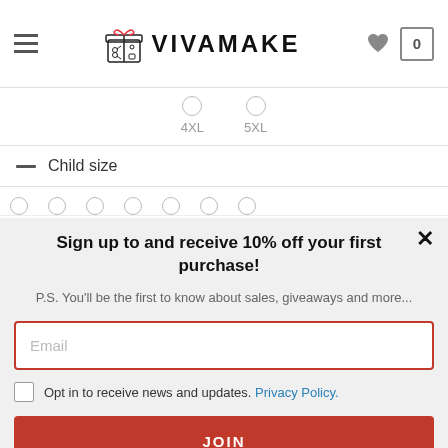VIVAMAKE — navigation header with hamburger menu, logo, heart icon, and cart icon showing 0
4XL   5XL
Child size
Sign up to and receive 10% off your first purchase!
P.S. You'll be the first to know about sales, giveaways and more...
Email
Opt in to receive news and updates. Privacy Policy.
JOIN